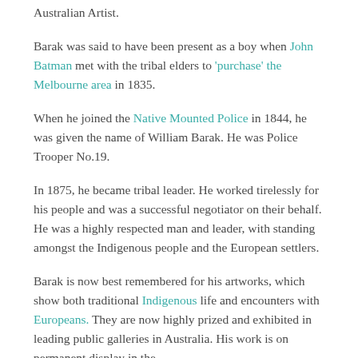Australian Artist.
Barak was said to have been present as a boy when John Batman met with the tribal elders to 'purchase' the Melbourne area in 1835.
When he joined the Native Mounted Police in 1844, he was given the name of William Barak. He was Police Trooper No.19.
In 1875, he became tribal leader. He worked tirelessly for his people and was a successful negotiator on their behalf. He was a highly respected man and leader, with standing amongst the Indigenous people and the European settlers.
Barak is now best remembered for his artworks, which show both traditional Indigenous life and encounters with Europeans. They are now highly prized and exhibited in leading public galleries in Australia. His work is on permanent display in the